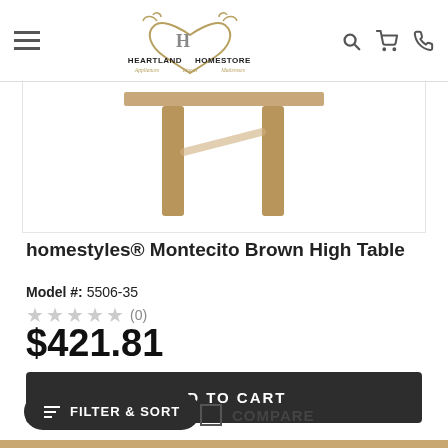Heartland Homestore - Appliances Linens Mattresses
[Figure (photo): Partial view of a wooden high table with brown legs against a white background]
homestyles® Montecito Brown High Table
Model #: 5506-35
★★★★★ (0)
$421.81
ADD TO CART
COMPARE
FILTER & SORT